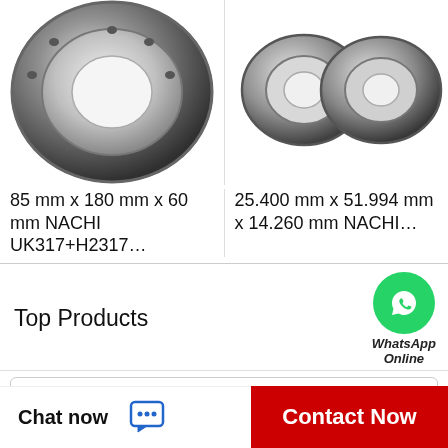[Figure (photo): Single large ring bearing (NACHI UK317+H2317), metallic, viewed from front at slight angle]
[Figure (photo): Two small tapered roller bearings (NACHI), metallic, side by side viewed from above]
85 mm x 180 mm x 60 mm NACHI UK317+H2317…
25.400 mm x 51.994 mm x 14.260 mm NACHI…
Top Products
[Figure (logo): WhatsApp green circle icon with phone handset, labeled WhatsApp Online]
Timken 90TPS140 thrust roller bearings
130 mm x 200 mm x 33 mm NTN 7026DF angular contact ball bearings
NKE 29272-M thrust roller bearings
Chat now
Contact Now